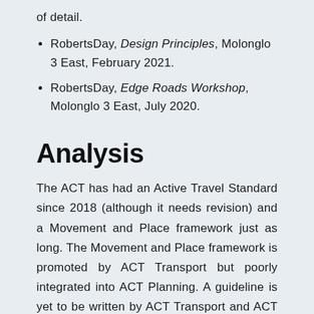of detail.
RobertsDay, Design Principles, Molonglo 3 East, February 2021.
RobertsDay, Edge Roads Workshop, Molonglo 3 East, July 2020.
Analysis
The ACT has had an Active Travel Standard since 2018 (although it needs revision) and a Movement and Place framework just as long. The Movement and Place framework is promoted by ACT Transport but poorly integrated into ACT Planning. A guideline is yet to be written by ACT Transport and ACT Planning in which it is described how they commonly understand the concept of Movement and Place in practical terms that it can be implemented. The absence of